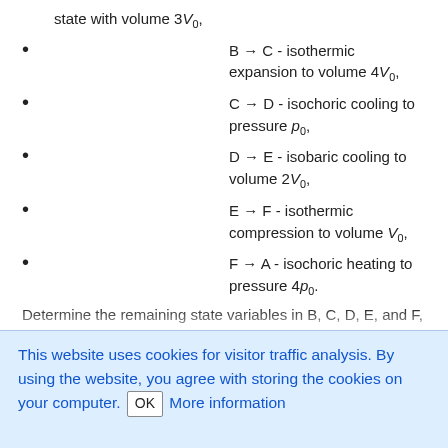state with volume 3V₀,
B → C - isothermic expansion to volume 4V₀,
C → D - isochoric cooling to pressure p₀,
D → E - isobaric cooling to volume 2V₀,
E → F - isothermic compression to volume V₀,
F → A - isochoric heating to pressure 4p₀.
Determine the remaining state variables in B, C, D, E, and F, the maximal and the minimal temperature of the ideal gas during the process (as a multiple of T₀), heat received and lost by the gas in each process, and the overall efficiency of the engine. Compare this efficiency with that of a Carnot engine working between the same minimal and maximal temperatures. Assume for simplicity that the
This website uses cookies for visitor traffic analysis. By using the website, you agree with storing the cookies on your computer. OK More information